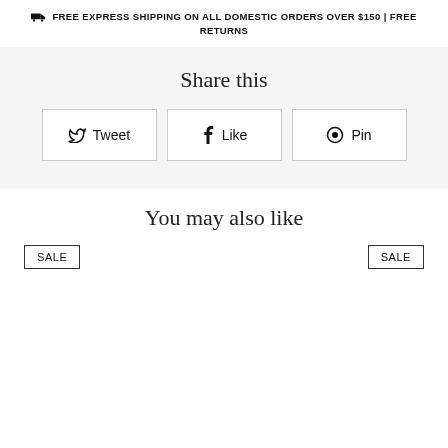FREE EXPRESS SHIPPING ON ALL DOMESTIC ORDERS OVER $150 | FREE RETURNS
Share this
Tweet
Like
Pin
You may also like
SALE
SALE